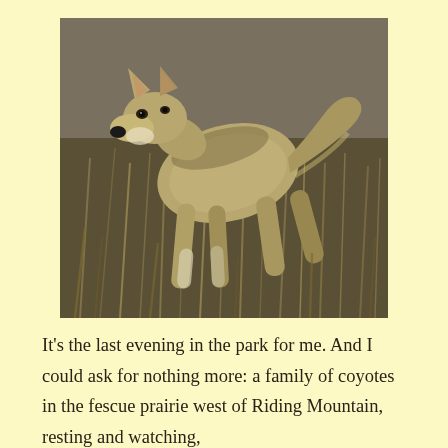[Figure (photo): A coyote walking through dry fescue prairie grass, facing slightly left toward the camera, with a lean muscular body, grey-brown fur, alert eyes, and a black nose. The background is blurred dry grass and brush.]
It's the last evening in the park for me. And I could ask for nothing more: a family of coyotes in the fescue prairie west of Riding Mountain, resting and watching,